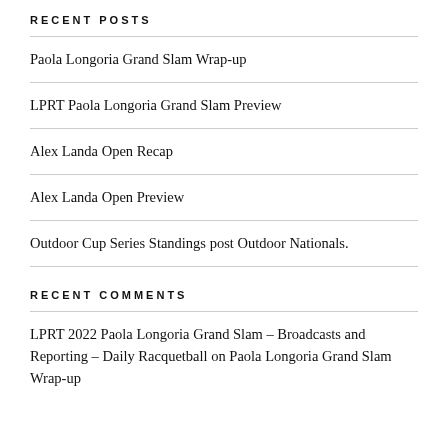RECENT POSTS
Paola Longoria Grand Slam Wrap-up
LPRT Paola Longoria Grand Slam Preview
Alex Landa Open Recap
Alex Landa Open Preview
Outdoor Cup Series Standings post Outdoor Nationals.
RECENT COMMENTS
LPRT 2022 Paola Longoria Grand Slam – Broadcasts and Reporting – Daily Racquetball on Paola Longoria Grand Slam Wrap-up